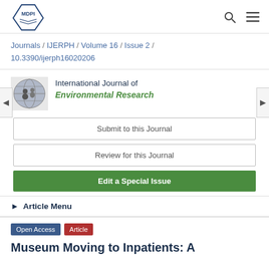[Figure (logo): MDPI logo with hexagonal border and open book icon]
Journals / IJERPH / Volume 16 / Issue 2 / 10.3390/ijerph16020206
[Figure (illustration): International Journal of Environmental Research globe icon]
International Journal of Environmental Research
Submit to this Journal
Review for this Journal
Edit a Special Issue
▶ Article Menu
Open Access
Article
Museum Moving to Inpatients: A...